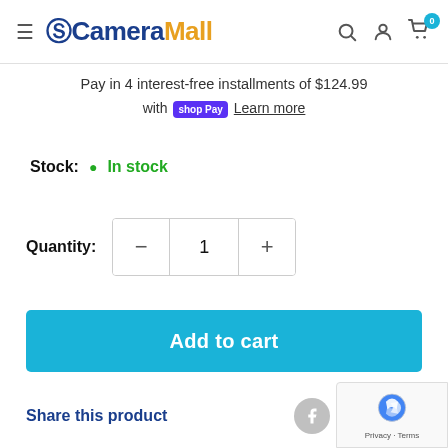CameraMall
Pay in 4 interest-free installments of $124.99 with Shop Pay Learn more
Stock: In stock
Quantity: 1
Add to cart
Share this product